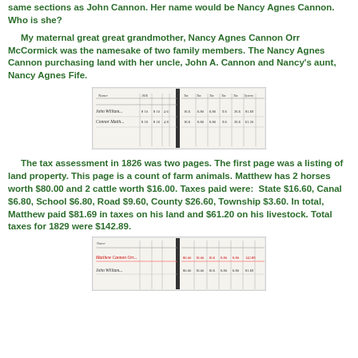same sections as John Cannon.  Her name would be Nancy Agnes Cannon.  Who is she?
My maternal great great grandmother, Nancy Agnes Cannon Orr McCormick was the namesake of two family members.  The Nancy Agnes Cannon purchasing land with her uncle, John A. Cannon and Nancy's aunt, Nancy Agnes Fife.
[Figure (photo): Scanned historical tax record document showing two rows of handwritten entries for John William and another individual, with columns for various tax amounts.]
The tax assessment in 1826 was two pages.  The first page was a listing of land property.  This page is a count of farm animals.  Matthew has 2 horses worth $80.00 and 2 cattle worth $16.00.  Taxes paid were:  State $16.60, Canal $6.80, School $6.80, Road $9.60, County $26.60, Township $3.60.  In total, Matthew paid $81.69 in taxes on his land and $61.20 on his livestock.  Total taxes for 1829 were $142.89.
[Figure (photo): Scanned historical tax record document showing handwritten entries with red and black ink, two rows of data with columns for farm animals and tax amounts.]